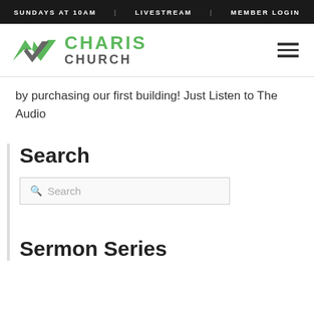SUNDAYS AT 10AM  |  LIVESTREAM  |  MEMBER LOGIN
[Figure (logo): Charis Church logo with green and grey chevron/checkmark icon and text CHARIS CHURCH]
by purchasing our first building! Just Listen to The Audio
Search
Search (search input box)
Sermon Series